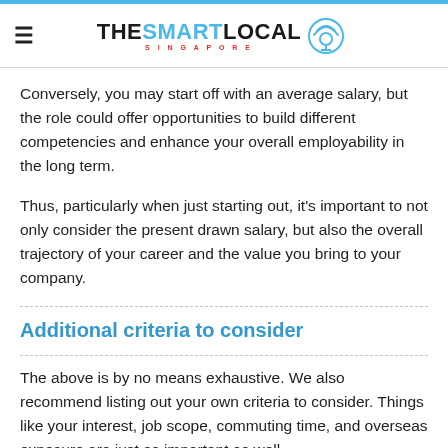THE SMART LOCAL SINGAPORE
Conversely, you may start off with an average salary, but the role could offer opportunities to build different competencies and enhance your overall employability in the long term.
Thus, particularly when just starting out, it's important to not only consider the present drawn salary, but also the overall trajectory of your career and the value you bring to your company.
Additional criteria to consider
The above is by no means exhaustive. We also recommend listing out your own criteria to consider. Things like your interest, job scope, commuting time, and overseas exposure are just as important as well.